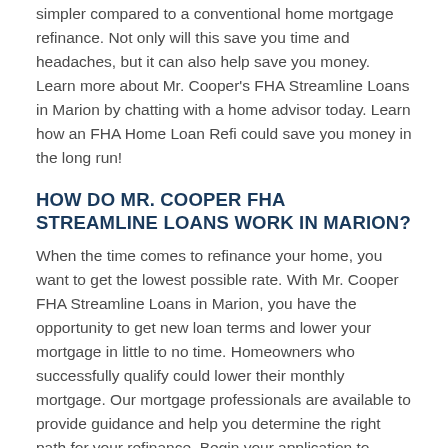simpler compared to a conventional home mortgage refinance. Not only will this save you time and headaches, but it can also help save you money. Learn more about Mr. Cooper's FHA Streamline Loans in Marion by chatting with a home advisor today. Learn how an FHA Home Loan Refi could save you money in the long run!
HOW DO MR. COOPER FHA STREAMLINE LOANS WORK IN MARION?
When the time comes to refinance your home, you want to get the lowest possible rate. With Mr. Cooper FHA Streamline Loans in Marion, you have the opportunity to get new loan terms and lower your mortgage in little to no time. Homeowners who successfully qualify could lower their monthly mortgage. Our mortgage professionals are available to provide guidance and help you determine the right path for your refinance. Begin your application to qualify for a Mr. Cooper FHA Streamline refi in Marion today!
QUALIFICATIONS FOR REFINANCING FHA HOME LOAN WITH MR. COOPER IN MARION